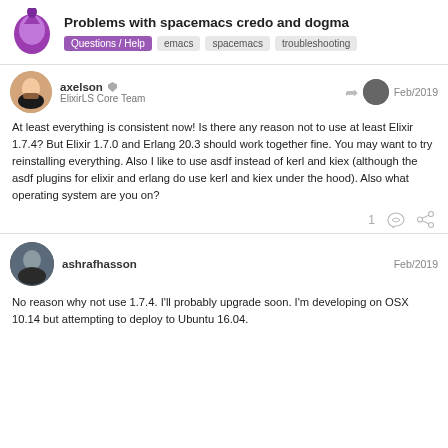Problems with spacemacs credo and dogma
axelson ElixirLS Core Team Feb/2019
At least everything is consistent now! Is there any reason not to use at least Elixir 1.7.4? But Elixir 1.7.0 and Erlang 20.3 should work together fine. You may want to try reinstalling everything. Also I like to use asdf instead of kerl and kiex (although the asdf plugins for elixir and erlang do use kerl and kiex under the hood). Also what operating system are you on?
ashrafhasson Feb/2019
No reason why not use 1.7.4. I'll probably upgrade soon. I'm developing on OSX 10.14 but attempting to deploy to Ubuntu 16.04.